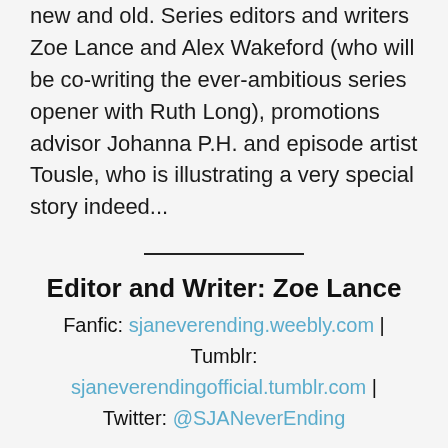new and old. Series editors and writers Zoe Lance and Alex Wakeford (who will be co-writing the ever-ambitious series opener with Ruth Long), promotions advisor Johanna P.H. and episode artist Tousle, who is illustrating a very special story indeed...
Editor and Writer: Zoe Lance
Fanfic: sjaneverending.weebly.com | Tumblr: sjaneverendingofficial.tumblr.com | Twitter: @SJANeverEnding
How did you come to Doctor Who? What's your journey with the show?